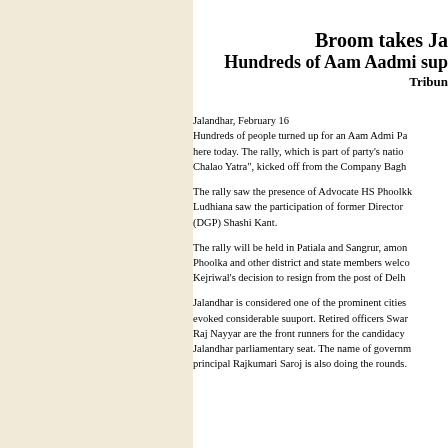Broom takes Ja... Hundreds of Aam Aadmi sup... Tribune
Jalandhar, February 16
Hundreds of people turned up for an Aam Admi Pa... here today. The rally, which is part of party's natio... Chalao Yatra", kicked off from the Company Bagh...
The rally saw the presence of Advocate HS Phoolkk... Ludhiana saw the participation of former Director ... (DGP) Shashi Kant.
The rally will be held in Patiala and Sangrur, amon... Phoolka and other district and state members welco... Kejriwal's decision to resign from the post of Delh...
Jalandhar is considered one of the prominent cities... evoked considerable suuport. Retired officers Swar... Raj Nayyar are the front runners for the candidacy... Jalandhar parliamentary seat. The name of governm... principal Rajkumari Saroj is also doing the rounds.